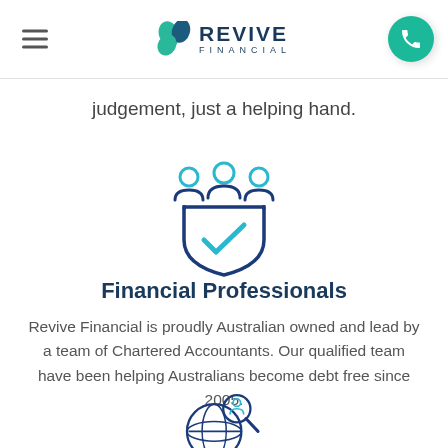Revive Financial
judgement, just a helping hand.
[Figure (illustration): Icon of three people standing behind a shield with a checkmark, representing a team of financial professionals]
Financial Professionals
Revive Financial is proudly Australian owned and lead by a team of Chartered Accountants. Our qualified team have been helping Australians become debt free since 2005.
[Figure (illustration): Globe with a magnifying glass icon, partially visible at the bottom of the page]